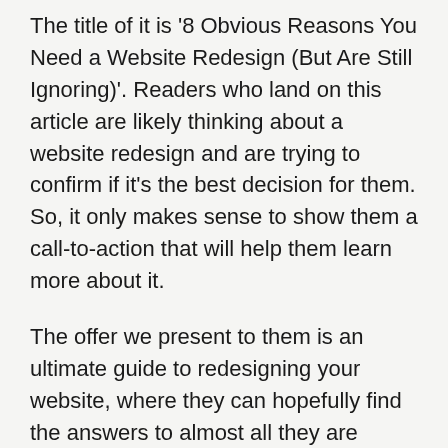The title of it is '8 Obvious Reasons You Need a Website Redesign (But Are Still Ignoring)'. Readers who land on this article are likely thinking about a website redesign and are trying to confirm if it's the best decision for them. So, it only makes sense to show them a call-to-action that will help them learn more about it.
The offer we present to them is an ultimate guide to redesigning your website, where they can hopefully find the answers to almost all they are looking for in one place.
These types of offers also have the benefit of building trust with your users. If these work to educate them, they will begin seeing your company as a thought leader, leading them to feel more comfortable researching your services.